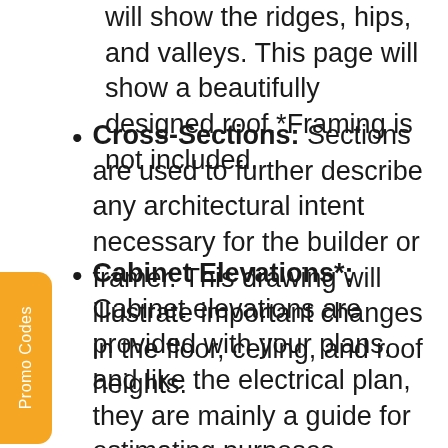will show the ridges, hips, and valleys. This page will show a beautifully designed roof.*Framing is not included.
Cross-Sections: Sections are used to further describe any architectural intent necessary for the builder or framer. This drawing will illustrate important changes in the floor, ceiling, and roof heights.
Cabinet Elevations*: Cabinet elevations are provided with your plans, and like the electrical plan, they are mainly a guide for estimating purposes. Cabinets are an area that is easy to customize and your builder or cabinet maker will work with you early on in the process to ensure that the correct cabinets are specified. Archival Designs believes cabinets should reflect your taste and budget. After framing and sheet rock installation sizes of walls may change slightly.